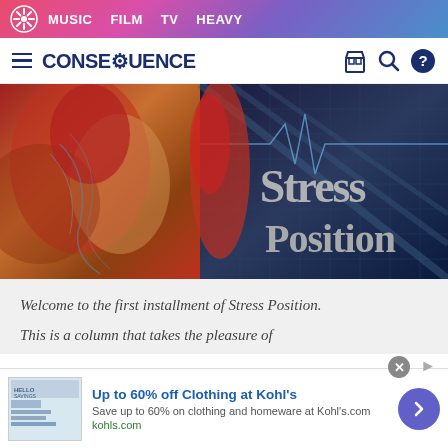MUSIC  FILM  TV  HEAVY
CONSEQUENCE
[Figure (photo): Hero image for Stress Position article showing anatomical heart illustration on left with red blood splatter, and dark blue grid/graph background on right with the text 'Stress Position' in large grey letters]
Welcome to the first installment of Stress Position.
This is a column that takes the pleasure of
[Figure (screenshot): Advertisement banner for Kohl's: 'Up to 60% off Clothing at Kohl's'. Save up to 60% on clothing and homeware at Kohl's.com. kohls.com]